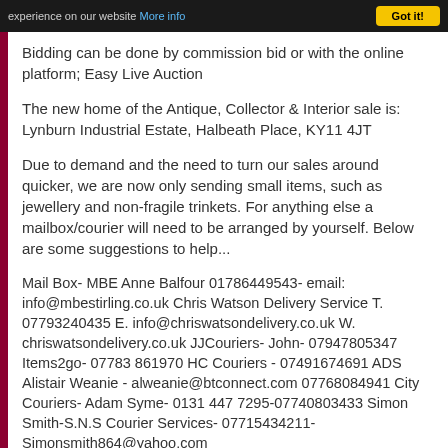experience on our website More info  Got it!
Bidding can be done by commission bid or with the online platform; Easy Live Auction
The new home of the Antique, Collector & Interior sale is: Lynburn Industrial Estate, Halbeath Place, KY11 4JT
Due to demand and the need to turn our sales around quicker, we are now only sending small items, such as jewellery and non-fragile trinkets. For anything else a mailbox/courier will need to be arranged by yourself. Below are some suggestions to help...
Mail Box- MBE Anne Balfour 01786449543- email: info@mbestirling.co.uk Chris Watson Delivery Service T. 07793240435 E. info@chriswatsondelivery.co.uk W. chriswatsondelivery.co.uk JJCouriers- John- 07947805347 Items2go- 07783 861970 HC Couriers - 07491674691 ADS Alistair Weanie - alweanie@btconnect.com 07768084941 City Couriers- Adam Syme- 0131 447 7295-07740803433 Simon Smith-S.N.S Courier Services- 07715434211- Simonsmith864@yahoo.com